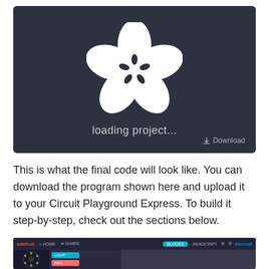[Figure (screenshot): Screenshot of a code editor/MakeCode-like environment showing a loading screen with a white flower/star logo on a dark background, text 'loading project...' and a Download button in the bottom right.]
This is what the final code will look like. You can download the program shown here and upload it to your Circuit Playground Express. To build it step-by-step, check out the sections below.
[Figure (screenshot): Partial screenshot of MakeCode editor interface showing the top navigation bar with Home, Share, Blocks/JavaScript toggle, settings icons, and Microsoft branding. The bottom shows a partial view of the Circuit Playground Express device and some colored blocks.]